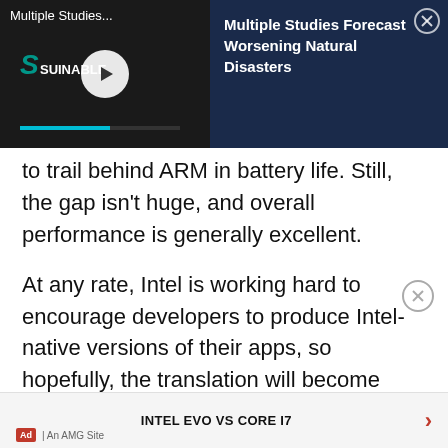[Figure (screenshot): Video ad banner showing 'Multiple Studies...' with a video thumbnail on the left (dark background with teal logo and play button) and dark navy right panel with text 'Multiple Studies Forecast Worsening Natural Disasters' and a close X button.]
to trail behind ARM in battery life. Still, the gap isn't huge, and overall performance is generally excellent.
At any rate, Intel is working hard to encourage developers to produce Intel-native versions of their apps, so hopefully, the translation will become progressively less of an issue.
INTEL EVO VS CORE I7
Ad | An AMG Site